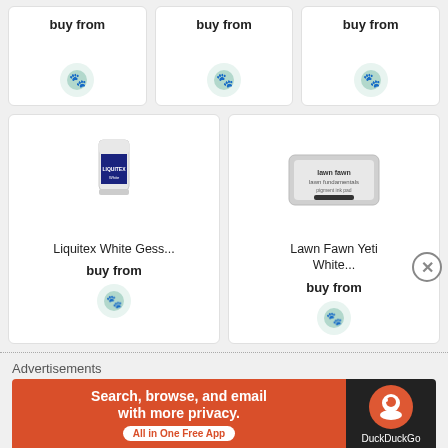buy from
buy from
buy from
[Figure (photo): Liquitex White Gesso product bottle (white container with dark label)]
Liquitex White Gess...
buy from
[Figure (photo): Lawn Fawn Yeti White ink pad in silver tin case]
Lawn Fawn Yeti White...
buy from
Advertisements
[Figure (screenshot): DuckDuckGo advertisement banner: 'Search, browse, and email with more privacy. All in One Free App' with DuckDuckGo logo on dark background]